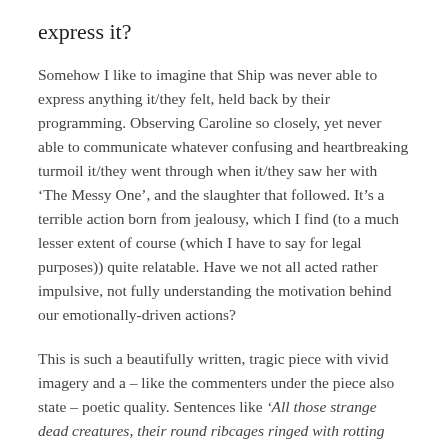express it?
Somehow I like to imagine that Ship was never able to express anything it/they felt, held back by their programming. Observing Caroline so closely, yet never able to communicate whatever confusing and heartbreaking turmoil it/they went through when it/they saw her with ‘The Messy One’, and the slaughter that followed. It’s a terrible action born from jealousy, which I find (to a much lesser extent of course (which I have to say for legal purposes)) quite relatable. Have we not all acted rather impulsive, not fully understanding the motivation behind our emotionally-driven actions?
This is such a beautifully written, tragic piece with vivid imagery and a – like the commenters under the piece also state – poetic quality. Sentences like ‘All those strange dead creatures, their round ribcages ringed with rotting violent